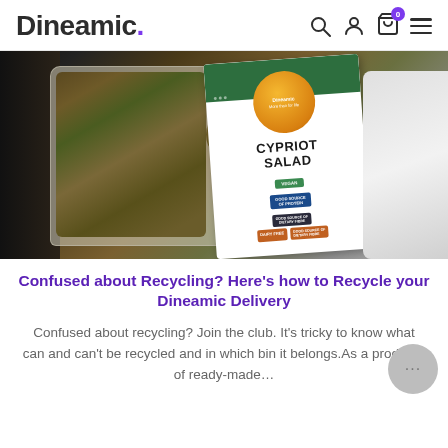Dineamic.
[Figure (photo): Dineamic Cypriot Salad meal in a clear food container alongside the product packaging card showing 'Cypriot Salad' with labels for Vegan, Good Source of Protein, Dairy Free, Good Source of Dietary Fibre, and a white delivery bag in the background.]
Confused about Recycling? Here's how to Recycle your Dineamic Delivery
Confused about recycling? Join the club. It's tricky to know what can and can't be recycled and in which bin it belongs. As a producer of ready-made…